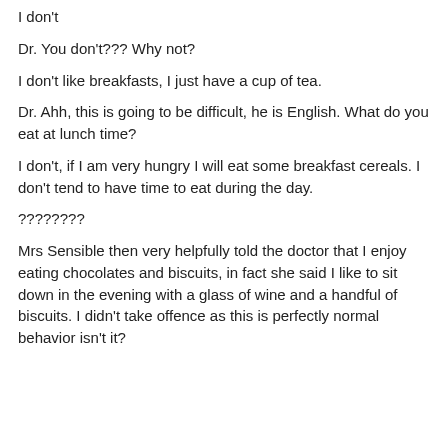I don't
Dr. You don't??? Why not?
I don't like breakfasts, I just have a cup of tea.
Dr. Ahh, this is going to be difficult, he is English. What do you eat at lunch time?
I don't, if I am very hungry I will eat some breakfast cereals. I don't tend to have time to eat during the day.
????????
Mrs Sensible then very helpfully told the doctor that I enjoy eating chocolates and biscuits, in fact she said I like to sit down in the evening with a glass of wine and a handful of biscuits. I didn't take offence as this is perfectly normal behavior isn't it?